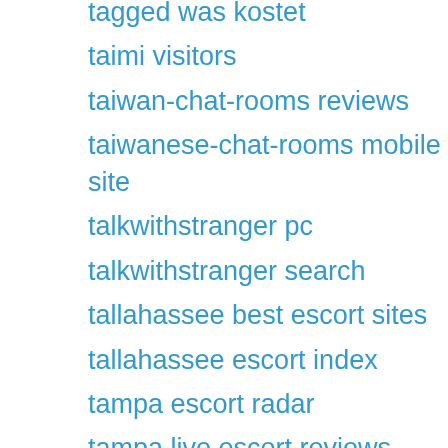tagged was kostet
taimi visitors
taiwan-chat-rooms reviews
taiwanese-chat-rooms mobile site
talkwithstranger pc
talkwithstranger search
tallahassee best escort sites
tallahassee escort index
tampa escort radar
tampa live escort reviews
tastebuds como funciona
tastebuds review
Tattoo Dating free
Tattoo Dating online
Tattoo Dating visitors